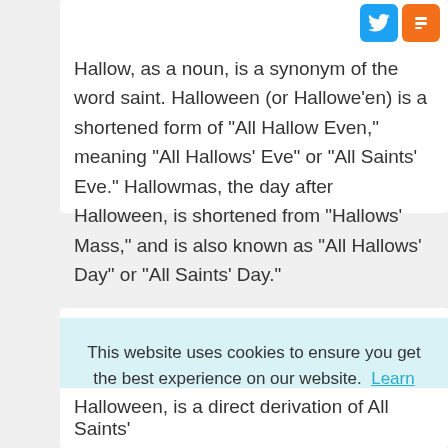[Figure (other): Twitter and Blogger social share icon buttons (blue and orange rounded squares)]
Hallow, as a noun, is a synonym of the word saint. Halloween (or Hallowe'en) is a shortened form of "All Hallow Even," meaning "All Hallows' Eve" or "All Saints' Eve." Hallowmas, the day after Halloween, is shortened from "Hallows' Mass," and is also known as "All Hallows' Day" or "All Saints' Day."
This website uses cookies to ensure you get the best experience on our website.  Learn more
Got it!
Halloween, is a direct derivation of All Saints'